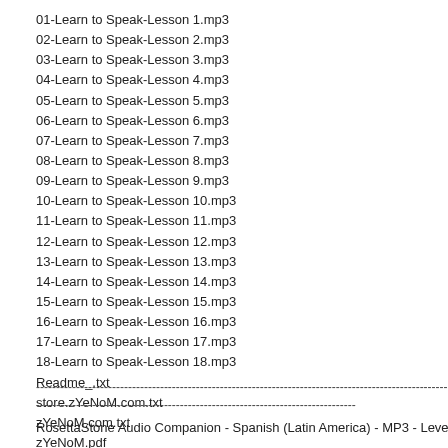01-Learn to Speak-Lesson 1.mp3
02-Learn to Speak-Lesson 2.mp3
03-Learn to Speak-Lesson 3.mp3
04-Learn to Speak-Lesson 4.mp3
05-Learn to Speak-Lesson 5.mp3
06-Learn to Speak-Lesson 6.mp3
07-Learn to Speak-Lesson 7.mp3
08-Learn to Speak-Lesson 8.mp3
09-Learn to Speak-Lesson 9.mp3
10-Learn to Speak-Lesson 10.mp3
11-Learn to Speak-Lesson 11.mp3
12-Learn to Speak-Lesson 12.mp3
13-Learn to Speak-Lesson 13.mp3
14-Learn to Speak-Lesson 14.mp3
15-Learn to Speak-Lesson 15.mp3
16-Learn to Speak-Lesson 16.mp3
17-Learn to Speak-Lesson 17.mp3
18-Learn to Speak-Lesson 18.mp3
Readme_.txt
store.zYeNoM.com.txt
zYeNoM.com.txt
zYeNoM.pdf
----------------------------------------------------------------------------------------------------------------------------------------
--------------------------------------------------------------------------------
RosettaStone Audio Companion - Spanish (Latin America) - MP3 - Level